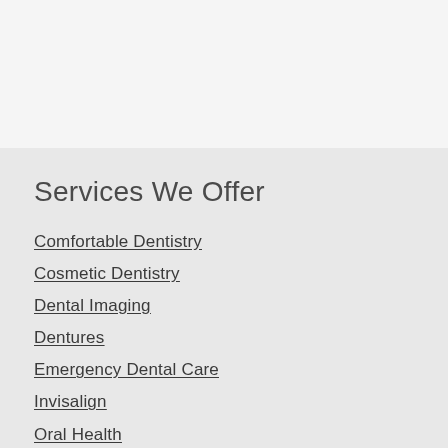Services We Offer
Comfortable Dentistry
Cosmetic Dentistry
Dental Imaging
Dentures
Emergency Dental Care
Invisalign
Oral Health
Orthodontics
Teeth Whitening
Endodontics